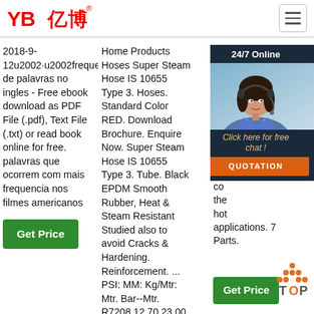[Figure (logo): YB億博 company logo in red, with registered trademark symbol]
[Figure (other): Hamburger menu icon in top right corner]
2018-9-12u2002·u2002frequentes palabras de palavras no ingles - Free ebook download as PDF File (.pdf), Text File (.txt) or read book online for free. palavras que ocorrem com mais frequencia nos filmes americanos
Home Products Hoses Super Steam Hose IS 10655 Type 3. Hoses. Standard Color RED. Download Brochure. Enquire Now. Super Steam Hose IS 10655 Type 3. Tube. Black EPDM Smooth Rubber, Heat & Steam Resistant Studied also to avoid Cracks & Hardening. Reinforcement. ... PSI: MM: Kg/Mtr: Mtr. Bar--Mtr. R7208 12.70 23.00
3 Series – SH2PM. The hose IS 10655 Type 3 BS EPDM 16 bar pressure 205 EPDM cover the hot applications. 7 Parts.
[Figure (other): 24/7 Online chat widget with female agent wearing headset, Click here for free chat!, QUOTATION button]
[Figure (other): TOP scroll-to-top icon with orange dots]
Get Price
Get Price